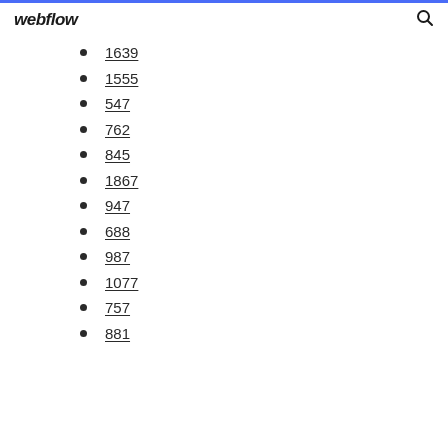webflow
1639
1555
547
762
845
1867
947
688
987
1077
757
881